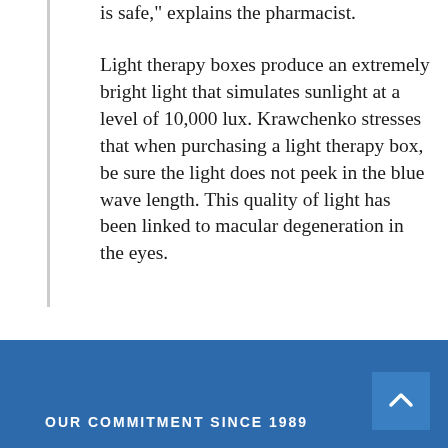is safe," explains the pharmacist.
Light therapy boxes produce an extremely bright light that simulates sunlight at a level of 10,000 lux. Krawchenko stresses that when purchasing a light therapy box, be sure the light does not peek in the blue wave length. This quality of light has been linked to macular degeneration in the eyes.
OUR COMMITMENT SINCE 1989